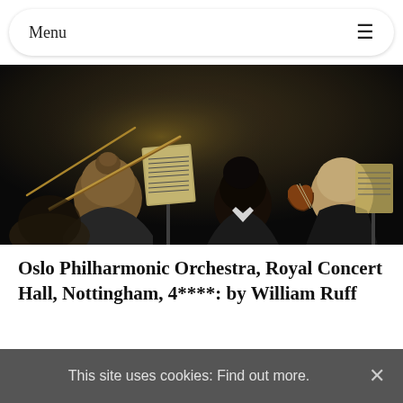Menu
[Figure (photo): Back view of orchestra musicians playing string instruments (violins, cellos) in a dark concert hall setting, with music stands visible.]
Oslo Philharmonic Orchestra, Royal Concert Hall, Nottingham, 4****: by William Ruff
This site uses cookies: Find out more.